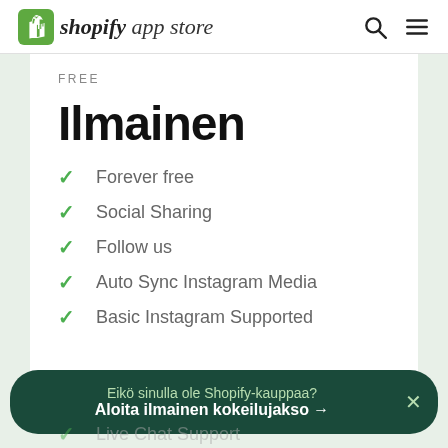shopify app store
FREE
Ilmainen
Forever free
Social Sharing
Follow us
Auto Sync Instagram Media
Basic Instagram Supported
Eikö sinulla ole Shopify-kauppaa? Aloita ilmainen kokeilujakso →
Live Chat Support